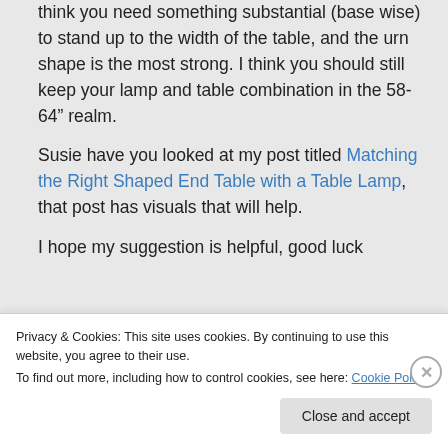think you need something substantial (base wise) to stand up to the width of the table, and the urn shape is the most strong. I think you should still keep your lamp and table combination in the 58-64" realm.
Susie have you looked at my post titled Matching the Right Shaped End Table with a Table Lamp, that post has visuals that will help.
I hope my suggestion is helpful, good luck
Privacy & Cookies: This site uses cookies. By continuing to use this website, you agree to their use.
To find out more, including how to control cookies, see here: Cookie Policy